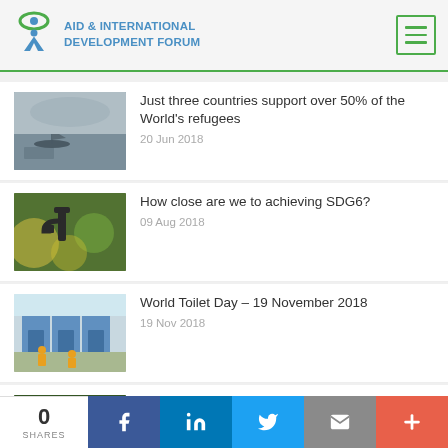AID & INTERNATIONAL DEVELOPMENT FORUM
Just three countries support over 50% of the World's refugees — 20 Jun 2018
How close are we to achieving SDG6? — 09 Aug 2018
World Toilet Day – 19 November 2018 — 19 Nov 2018
UN report warns Asia-Pacific is falling behind…
0 SHARES | Facebook | LinkedIn | Twitter | Email | +